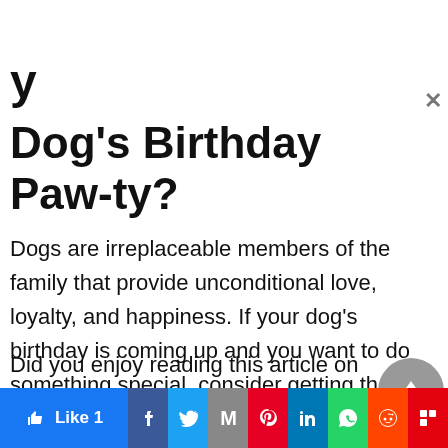y
Dog's Birthday Paw-ty?
Dogs are irreplaceable members of the family that provide unconditional love, loyalty, and happiness. If your dog's birthday is coming up and you want to do something special, consider getting them one of these pet gifts.
Did you enjoy reading this article on celebrating your pet's birthday? If you want to learn more
[Figure (infographic): Social media share bar with Like 1 button and icons for Facebook, Twitter, Gmail, Pinterest, LinkedIn, WhatsApp, Reddit, Flipboard]